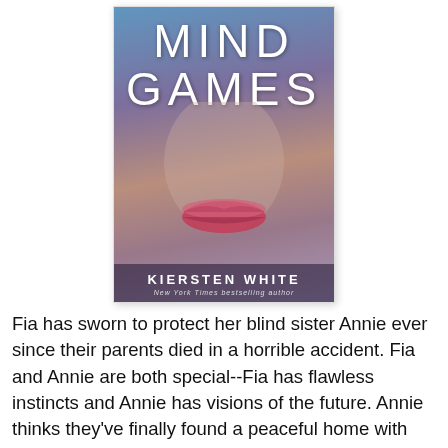[Figure (illustration): Book cover of 'Mind Games' by Kiersten White. Shows a close-up of a woman's face with lips, overlaid with colorful abstract textures. Title 'MIND GAMES' in large white letters at top. Author name 'KIERSTEN WHITE' and subtitle 'New York Times bestselling author' at bottom.]
Fia has sworn to protect her blind sister Annie ever since their parents died in a horrible accident. Fia and Annie are both special--Fia has flawless instincts and Annie has visions of the future. Annie thinks they've finally found a peaceful home with the Keane Institute, but Fia knows better. Unwilling to make her sister unhappy, Fia ignores her intuition and allows the Institute to control her life and train her as an assassin. Annie discovers the true nature of her precious boarding school too late. It's up to the sisters to